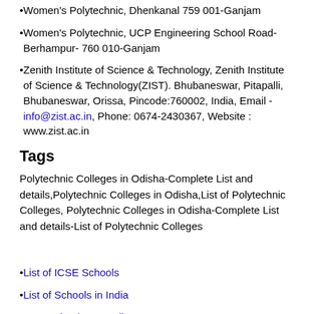Women's Polytechnic, Dhenkanal 759 001-Ganjam
Women's Polytechnic, UCP Engineering School Road- Berhampur- 760 010-Ganjam
Zenith Institute of Science & Technology, Zenith Institute of Science & Technology(ZIST). Bhubaneswar, Pitapalli, Bhubaneswar, Orissa, Pincode:760002, India, Email - info@zist.ac.in, Phone: 0674-2430367, Website : www.zist.ac.in
Tags
Polytechnic Colleges in Odisha-Complete List and details,Polytechnic Colleges in Odisha,List of Polytechnic Colleges, Polytechnic Colleges in Odisha-Complete List and details-List of Polytechnic Colleges
List of ICSE Schools
List of Schools in India
Arts and Science Colleges